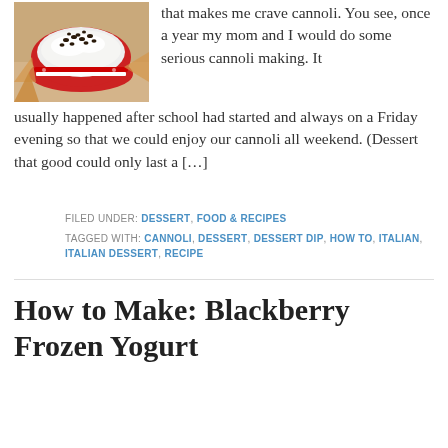[Figure (photo): A red bowl filled with white creamy cannoli dip topped with mini chocolate chips, placed on a checkered cloth with waffle cones nearby]
that makes me crave cannoli. You see, once a year my mom and I would do some serious cannoli making. It usually happened after school had started and always on a Friday evening so that we could enjoy our cannoli all weekend. (Dessert that good could only last a […]
FILED UNDER: DESSERT, FOOD & RECIPES
TAGGED WITH: CANNOLI, DESSERT, DESSERT DIP, HOW TO, ITALIAN, ITALIAN DESSERT, RECIPE
How to Make: Blackberry Frozen Yogurt